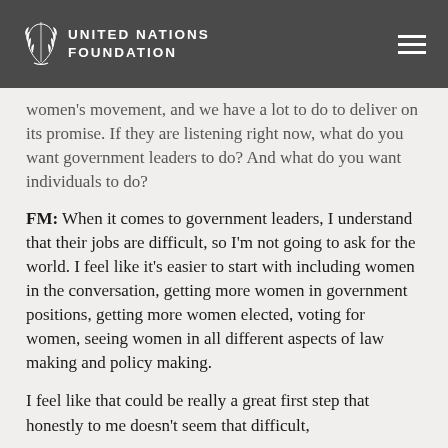UNITED NATIONS FOUNDATION
women's movement, and we have a lot to do to deliver on its promise. If they are listening right now, what do you want government leaders to do? And what do you want individuals to do?
FM: When it comes to government leaders, I understand that their jobs are difficult, so I'm not going to ask for the world. I feel like it's easier to start with including women in the conversation, getting more women in government positions, getting more women elected, voting for women, seeing women in all different aspects of law making and policy making.
I feel like that could be really a great first step that honestly to me doesn't seem that difficult,